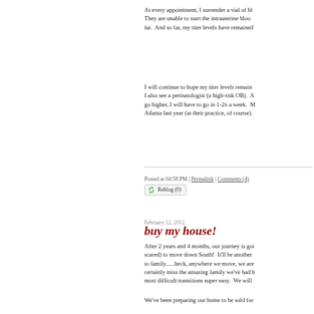At every appointment, I surrender a vial of bl... They are unable to start the intrauterine blood... far. And so far, my titer levels have remained...
I will continue to hope my titer levels remain... I also see a perinatologist (a high-risk OB). A... go higher, I will have to go in 1-2x a week. M... Atlanta last year (at their practice, of course).
Posted at 04:58 PM | Permalink | Comments (4)
[Figure (other): Reblog (0) button with recycle icon]
February 12, 2012
buy my house!
After 2 years and 4 months, our journey is goi... scared) to move down South! It'll be another... to family......heck, anywhere we move, we are... certainly miss the amazing family we've had h... most difficult transitions super easy. We will...
We've been preparing our home to be sold for...